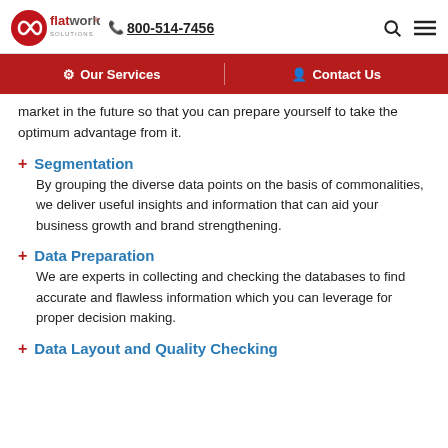flatworld solutions | 800-514-7456
Our Services | Contact Us
market in the future so that you can prepare yourself to take the optimum advantage from it.
Segmentation — By grouping the diverse data points on the basis of commonalities, we deliver useful insights and information that can aid your business growth and brand strengthening.
Data Preparation — We are experts in collecting and checking the databases to find accurate and flawless information which you can leverage for proper decision making.
Data Layout and Quality Checking